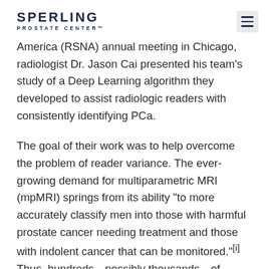SPERLING PROSTATE CENTER™
America (RSNA) annual meeting in Chicago, radiologist Dr. Jason Cai presented his team's study of a Deep Learning algorithm they developed to assist radiologic readers with consistently identifying PCa.
The goal of their work was to help overcome the problem of reader variance. The ever-growing demand for multiparametric MRI (mpMRI) springs from its ability "to more accurately classify men into those with harmful prostate cancer needing treatment and those with indolent cancer that can be monitored."[i] Thus, hundreds—possibly thousands—of medical centers across the U.S. provide mpMRI for patients performed either on